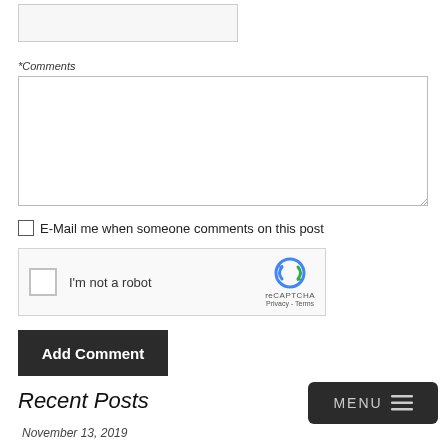[Figure (screenshot): Input text box (empty, light gray background)]
*Comments
[Figure (screenshot): Large textarea for comments, empty, with resize handle]
E-Mail me when someone comments on this post
[Figure (screenshot): reCAPTCHA widget with checkbox, 'I'm not a robot' text, and reCAPTCHA logo with Privacy - Terms links]
[Figure (screenshot): Add Comment button, dark background, white bold text]
Recent Posts
November 13, 2019
[Figure (screenshot): MENU button with hamburger icon, dark rounded rectangle, bottom right]